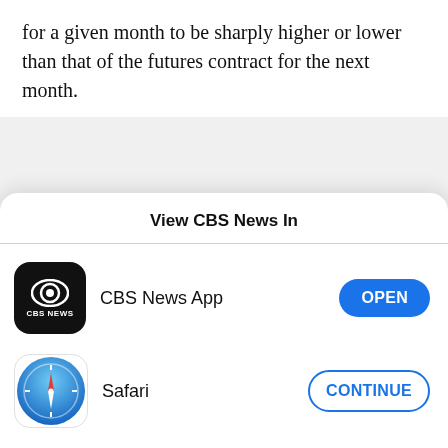for a given month to be sharply higher or lower than that of the futures contract for the next month.
[Figure (other): Gray placeholder/advertisement box]
Usually, this is smoothed out by the market, but the sharp pullback in demand combined with a glut of oil
View CBS News In
[Figure (other): CBS News App icon — black rounded square with CBS eye logo and CBS NEWS text]
CBS News App
OPEN
[Figure (other): Safari browser icon — compass rose on blue gradient background]
Safari
CONTINUE